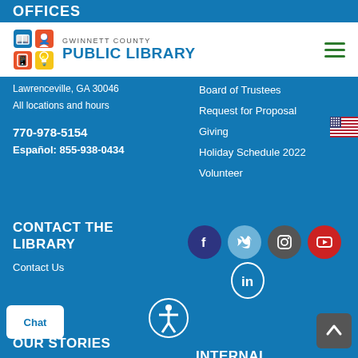OFFICES
[Figure (logo): Gwinnett County Public Library logo with colorful grid icon]
Lawrenceville, GA 30046
All locations and hours
770-978-5154
Español: 855-938-0434
Board of Trustees
Request for Proposal
Giving
Holiday Schedule 2022
Volunteer
CONTACT THE LIBRARY
Contact Us
[Figure (infographic): Social media icons: Facebook, Twitter, Instagram, YouTube, LinkedIn]
OUR STORIES
INTERNAL
Client Stories
Staff Stories
Jobs @ GCPL